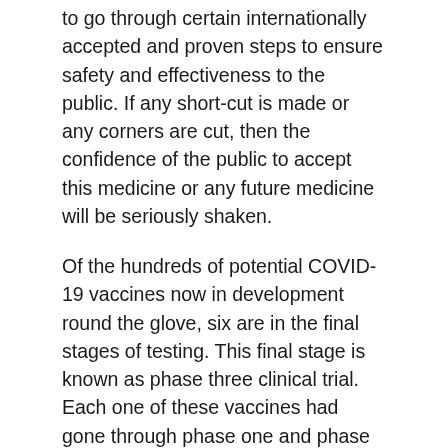to go through certain internationally accepted and proven steps to ensure safety and effectiveness to the public. If any short-cut is made or any corners are cut, then the confidence of the public to accept this medicine or any future medicine will be seriously shaken.
Of the hundreds of potential COVID-19 vaccines now in development round the glove, six are in the final stages of testing. This final stage is known as phase three clinical trial. Each one of these vaccines had gone through phase one and phase two testing before reaching the final phase. Only compromise that was allowed to these vaccines because of the urgency of this medication that phase one and phase two were allowed to be combined and run concurrently. These phases had to show that they are safe (with only short-term side effects, if identified, and no unexpected serious effects) and they elicit an immune response. The